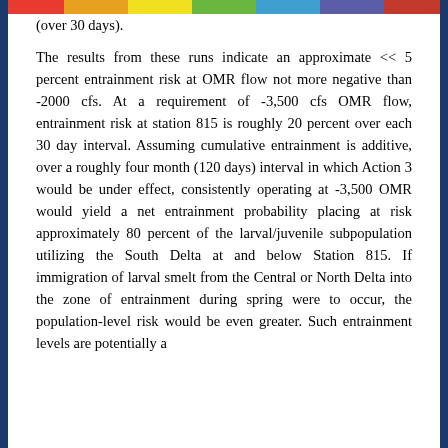[colored bar header]
(over 30 days).

The results from these runs indicate an approximate << 5 percent entrainment risk at OMR flow not more negative than -2000 cfs. At a requirement of -3,500 cfs OMR flow, entrainment risk at station 815 is roughly 20 percent over each 30 day interval. Assuming cumulative entrainment is additive, over a roughly four month (120 days) interval in which Action 3 would be under effect, consistently operating at -3,500 OMR would yield a net entrainment probability placing at risk approximately 80 percent of the larval/juvenile subpopulation utilizing the South Delta at and below Station 815. If immigration of larval smelt from the Central or North Delta into the zone of entrainment during spring were to occur, the population-level risk would be even greater. Such entrainment levels are potentially a